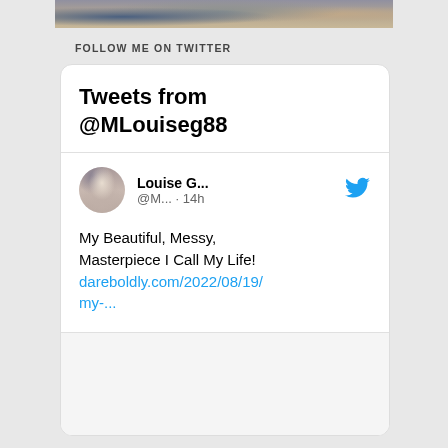[Figure (photo): Top portion of a person's face/hair photo banner]
FOLLOW ME ON TWITTER
[Figure (screenshot): Twitter widget showing Tweets from @MLouiseg88. Contains a tweet by Louise G... (@M... · 14h): 'My Beautiful, Messy, Masterpiece I Call My Life! dareboldly.com/2022/08/19/my-...' with a link preview showing dareboldly.com]
My Beautiful, Messy, Masterpiece I Call My Life! dareboldly.com/2022/08/19/my-...
dareboldly.com